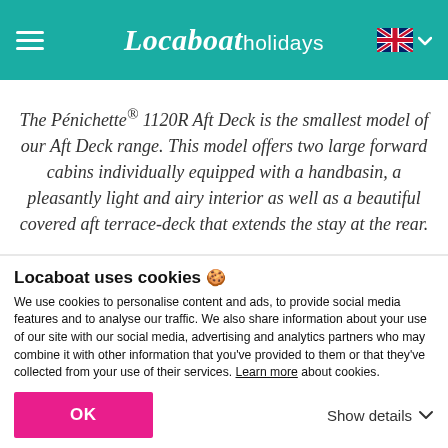Locaboat holidays
The Pénichette® 1120R Aft Deck is the smallest model of our Aft Deck range. This model offers two large forward cabins individually equipped with a handbasin, a pleasantly light and airy interior as well as a beautiful covered aft terrace-deck that extends the stay at the rear.
Locaboat uses cookies 🍪
We use cookies to personalise content and ads, to provide social media features and to analyse our traffic. We also share information about your use of our site with our social media, advertising and analytics partners who may combine it with other information that you've provided to them or that they've collected from your use of their services. Learn more about cookies.